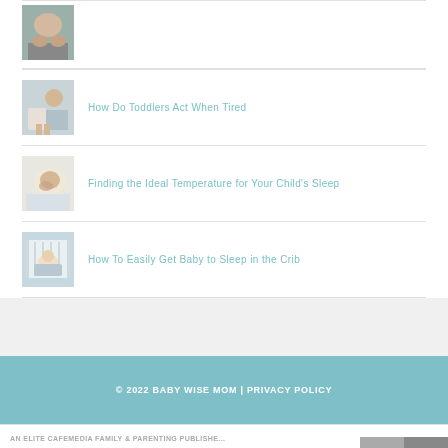[Figure (photo): Partial thumbnail of baby/hands at top of list, cropped]
How Do Toddlers Act When Tired
Finding the Ideal Temperature for Your Child's Sleep
How To Easily Get Baby to Sleep in the Crib
© 2022 BABY WISE MOM | PRIVACY POLICY
AN ELITE CAFEMEDIA FAMILY & PARENTING PUBLISHE...